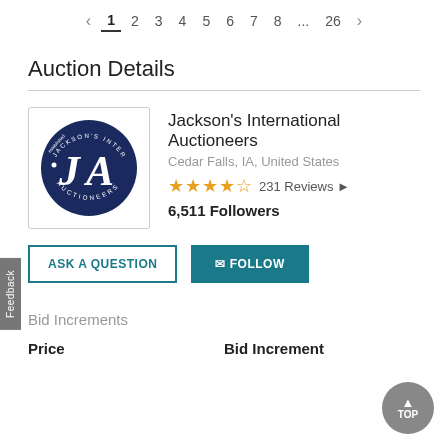< 1 2 3 4 5 6 7 8 ... 26 >
Auction Details
[Figure (logo): Jackson's International Auctioneers circular logo with JA initials on dark navy blue background]
Jackson's International Auctioneers
Cedar Falls, IA, United States
★★★★½  231 Reviews ▶
6,511 Followers
ASK A QUESTION   ✉ FOLLOW
Bid Increments
Price    Bid Increment